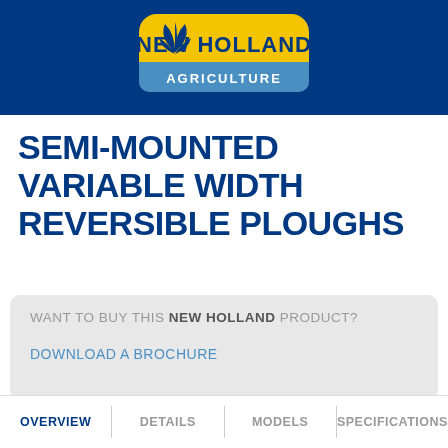[Figure (logo): New Holland Agriculture logo — yellow rounded rectangle badge with blue plant/leaf icon and white text 'NEW HOLLAND' above 'AGRICULTURE', on a dark blue banner background]
SEMI-MOUNTED VARIABLE WIDTH REVERSIBLE PLOUGHS
WANT TO BUY THIS NEW HOLLAND PRODUCT?
DOWNLOAD A BROCHURE
OVERVIEW | DETAILS | MODELS | SPECIFICATIONS